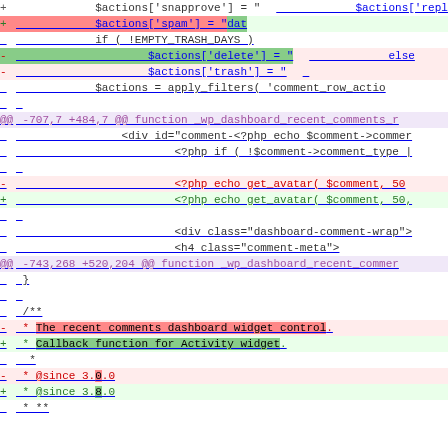[Figure (screenshot): A git diff output showing code changes in a PHP file. The diff shows modifications to $actions array entries (spam, delete, trash) and changes to _wp_dashboard_recent_comments function, including PHP template HTML and a docblock comment change from 'The recent comments dashboard widget control.' to 'Callback function for Activity widget.' and @since version from 3.0.0 to 3.8.0.]